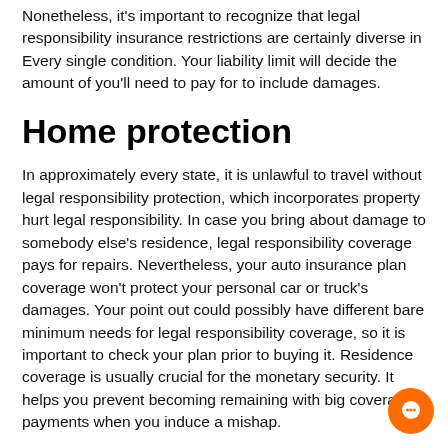Nonetheless, it's important to recognize that legal responsibility insurance restrictions are certainly diverse in Every single condition. Your liability limit will decide the amount of you'll need to pay for to include damages.
Home protection
In approximately every state, it is unlawful to travel without legal responsibility protection, which incorporates property hurt legal responsibility. In case you bring about damage to somebody else's residence, legal responsibility coverage pays for repairs. Nevertheless, your auto insurance plan coverage won't protect your personal car or truck's damages. Your point out could possibly have different bare minimum needs for legal responsibility coverage, so it is important to check your plan prior to buying it. Residence coverage is usually crucial for the monetary security. It helps you prevent becoming remaining with big coverage payments when you induce a mishap.
[Figure (other): Orange circular chat/message button in the bottom-right corner]